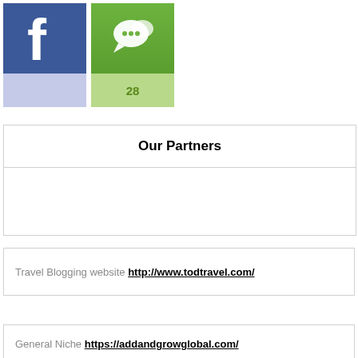[Figure (logo): Facebook blue icon with white f letter]
[Figure (logo): Green chat/comment icon with speech bubble, showing count 28]
Our Partners
Travel Blogging website http://www.todtravel.com/
General Niche https://addandgrowglobal.com/